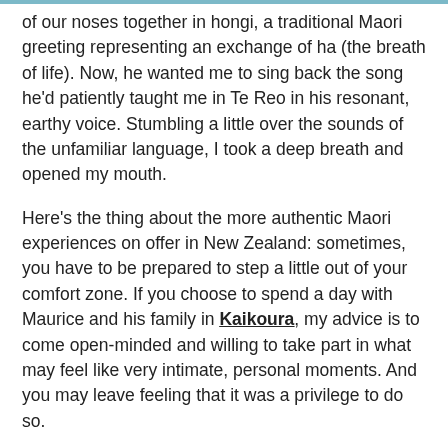of our noses together in hongi, a traditional Maori greeting representing an exchange of ha (the breath of life). Now, he wanted me to sing back the song he'd patiently taught me in Te Reo in his resonant, earthy voice. Stumbling a little over the sounds of the unfamiliar language, I took a deep breath and opened my mouth.
Here's the thing about the more authentic Maori experiences on offer in New Zealand: sometimes, you have to be prepared to step a little out of your comfort zone. If you choose to spend a day with Maurice and his family in Kaikoura, my advice is to come open-minded and willing to take part in what may feel like very intimate, personal moments. And you may leave feeling that it was a privilege to do so.
Later, Maurice's sister, Rebecca, walked me through native bush around the coastline, pointing out how the